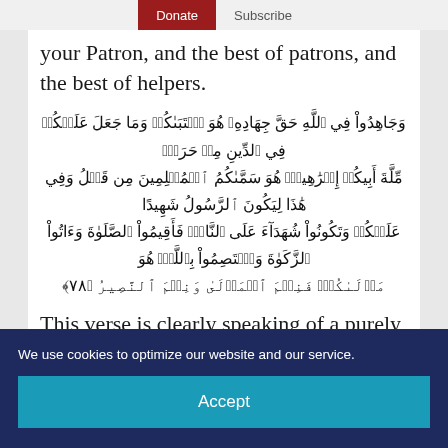Donate  Subscribe
your Patron, and the best of patrons, and the best of helpers.
[Figure (other): Arabic Quranic verse text (Quran 22:78) in Arabic script, centered, right-to-left]
This verse is clearly speaking of a purely spiritual struggle to be a good person and to honor God. The
We use cookies to optimize our website and our service.
Accept